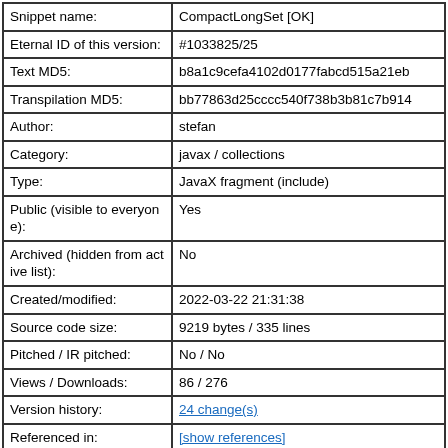| Field | Value |
| --- | --- |
| Snippet name: | CompactLongSet [OK] |
| Eternal ID of this version: | #1033825/25 |
| Text MD5: | b8a1c9cefa4102d0177fabcd515a21eb |
| Transpilation MD5: | bb77863d25cccc540f738b3b81c7b914 |
| Author: | stefan |
| Category: | javax / collections |
| Type: | JavaX fragment (include) |
| Public (visible to everyone): | Yes |
| Archived (hidden from active list): | No |
| Created/modified: | 2022-03-22 21:31:38 |
| Source code size: | 9219 bytes / 335 lines |
| Pitched / IR pitched: | No / No |
| Views / Downloads: | 86 / 276 |
| Version history: | 24 change(s) |
| Referenced in: | [show references] |